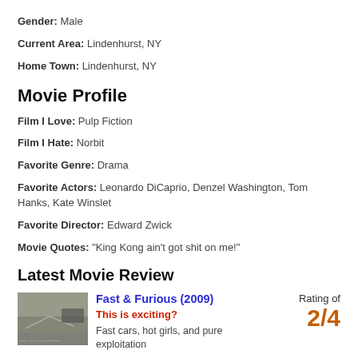Gender: Male
Current Area: Lindenhurst, NY
Home Town: Lindenhurst, NY
Movie Profile
Film I Love: Pulp Fiction
Film I Hate: Norbit
Favorite Genre: Drama
Favorite Actors: Leonardo DiCaprio, Denzel Washington, Tom Hanks, Kate Winslet
Favorite Director: Edward Zwick
Movie Quotes: "King Kong ain't got shit on me!"
Latest Movie Review
[Figure (photo): Movie still from Fast & Furious (2009) showing cars]
Fast & Furious (2009)
This is exciting?
Fast cars, hot girls, and pure exploitation
Rating of 2/4